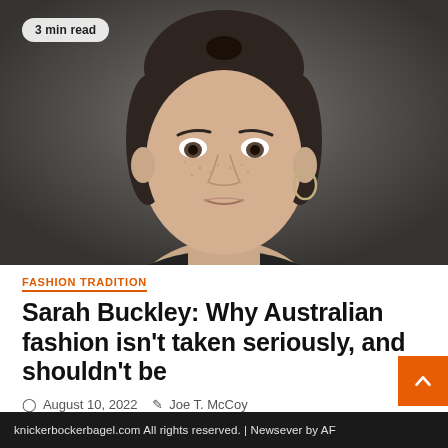[Figure (photo): Portrait photo of a young woman with brown hair pulled back, freckles, hoop earring, wearing a dark jacket, against a dark grey background. A '3 min read' badge is overlaid in the top-left corner.]
FASHION TRADITION
Sarah Buckley: Why Australian fashion isn't taken seriously, and shouldn't be
August 10, 2022   Joe T. McCoy
knickerbockerbagel.com All rights reserved. | Newsever by AF